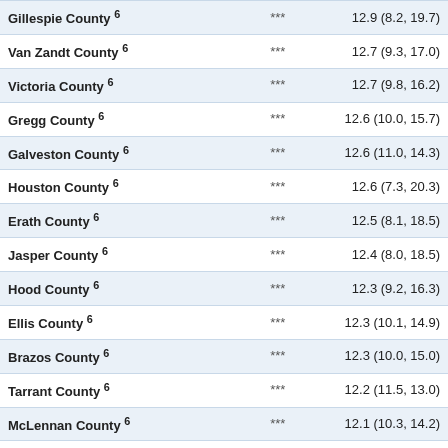|  |  |  |
| --- | --- | --- |
| Gillespie County 6 | *** | 12.9 (8.2, 19.7) |
| Van Zandt County 6 | *** | 12.7 (9.3, 17.0) |
| Victoria County 6 | *** | 12.7 (9.8, 16.2) |
| Gregg County 6 | *** | 12.6 (10.0, 15.7) |
| Galveston County 6 | *** | 12.6 (11.0, 14.3) |
| Houston County 6 | *** | 12.6 (7.3, 20.3) |
| Erath County 6 | *** | 12.5 (8.1, 18.5) |
| Jasper County 6 | *** | 12.4 (8.0, 18.5) |
| Hood County 6 | *** | 12.3 (9.2, 16.3) |
| Ellis County 6 | *** | 12.3 (10.1, 14.9) |
| Brazos County 6 | *** | 12.3 (10.0, 15.0) |
| Tarrant County 6 | *** | 12.2 (11.5, 13.0) |
| McLennan County 6 | *** | 12.1 (10.3, 14.2) |
| Montague County 6 | *** | 12.1 (7.1, 19.9) |
| Williamson County 6 | *** | 12.0 (10.7, 13.5) |
| Tom Green County 6 | *** | 11.9 (9.4, 15.0) |